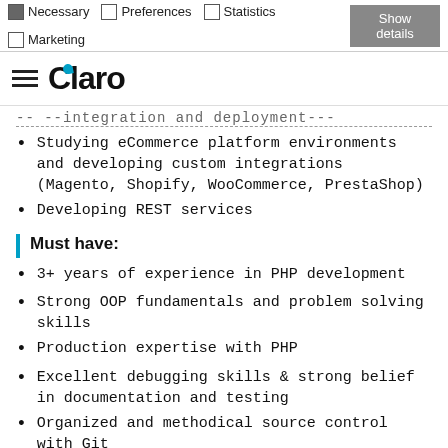Necessary  Preferences  Statistics  Marketing  Show details
Claro (logo/site header)
-- --integration and deployment---
Studying eCommerce platform environments and developing custom integrations (Magento, Shopify, WooCommerce, PrestaShop)
Developing REST services
Must have:
3+ years of experience in PHP development
Strong OOP fundamentals and problem solving skills
Production expertise with PHP
Excellent debugging skills & strong belief in documentation and testing
Organized and methodical source control with Git
Analytical aptitude and attention to detail
Team player who enjoys agile environments
Nice to...